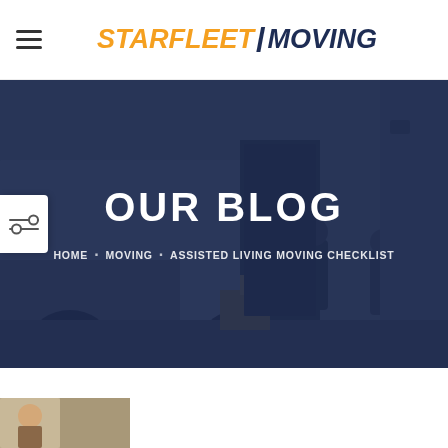[Figure (logo): Starfleet Moving logo with orange italic text for STARFLEET and dark blue italic text for MOVING with a lightning bolt slash divider]
[Figure (photo): Hero background photo of movers loading boxes into a moving truck, overlaid with dark blue semi-transparent overlay]
OUR BLOG
HOME · MOVING · ASSISTED LIVING MOVING CHECKLIST
[Figure (other): Filter/sliders icon on left edge of page]
[Figure (photo): Partial bottom thumbnail image strip, partially visible at bottom left of page]